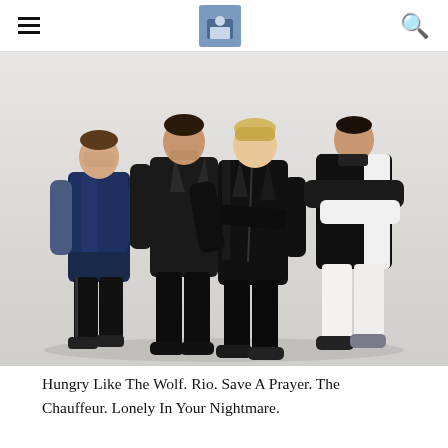[hamburger menu] [avatar/logo image] [search icon]
[Figure (photo): Four members of Duran Duran posed against a light grey/white background. Left to right: man in navy blue satin bomber jacket with dark trousers; man in black leather jacket and black trousers; blonde person in black leather moto jacket and black trousers leaning forward; man in black and white leather jacket with white trousers.]
Hungry Like The Wolf. Rio. Save A Prayer. The Chauffeur. Lonely In Your Nightmare.